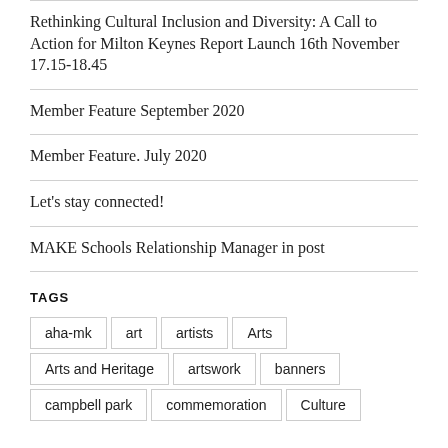Rethinking Cultural Inclusion and Diversity: A Call to Action for Milton Keynes Report Launch 16th November 17.15-18.45
Member Feature September 2020
Member Feature. July 2020
Let's stay connected!
MAKE Schools Relationship Manager in post
TAGS
aha-mk  art  artists  Arts  Arts and Heritage  artswork  banners  campbell park  commemoration  Culture